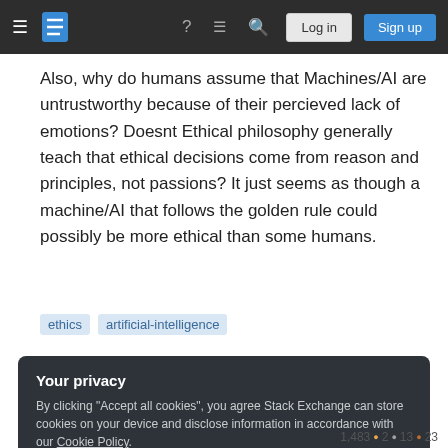Stack Exchange navigation bar with Log in and Sign up buttons
Also, why do humans assume that Machines/AI are untrustworthy because of their percieved lack of emotions? Doesnt Ethical philosophy generally teach that ethical decisions come from reason and principles, not passions? It just seems as though a machine/AI that follows the golden rule could possibly be more ethical than some humans.
ethics
artificial-intelligence
Your privacy
By clicking "Accept all cookies", you agree Stack Exchange can store cookies on your device and disclose information in accordance with our Cookie Policy.
Accept all cookies   Customize settings
1,483 ● 2 ● 13 ● 23